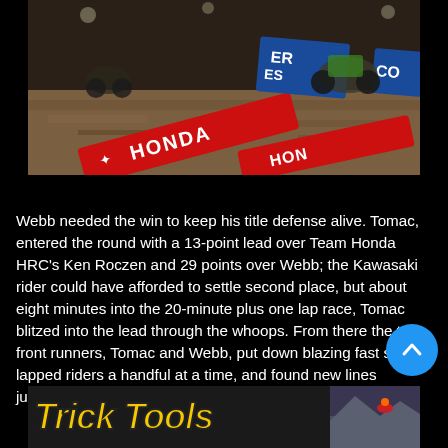[Figure (photo): Motocross race photo showing bikes navigating a dirt track with Honda branded barriers/banners in red visible, overhead arena lighting, dirt track surface]
Webb needed the win to keep his title defense alive. Tomac, entered the round with a 13-point lead over Team Honda HRC's Ken Roczen and 29 points over Webb; the Kawasaki rider could have afforded to settle second place, but about eight minutes into the 20-minute plus one lap race, Tomac blitzed into the lead through the whoops. From there the two front runners, Tomac and Webb, put down blazing fast speed, lapped riders a handful at a time, and found new lines jumping through the rutted rhythm sections.
[Figure (logo): Trick Tools logo text in yellow italic bold font with black outline, and a small motocross photo on the right side]